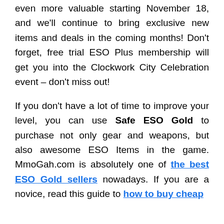even more valuable starting November 18, and we'll continue to bring exclusive new items and deals in the coming months! Don't forget, free trial ESO Plus membership will get you into the Clockwork City Celebration event – don't miss out!
If you don't have a lot of time to improve your level, you can use Safe ESO Gold to purchase not only gear and weapons, but also awesome ESO Items in the game. MmoGah.com is absolutely one of the best ESO Gold sellers nowadays. If you are a novice, read this guide to how to buy cheap